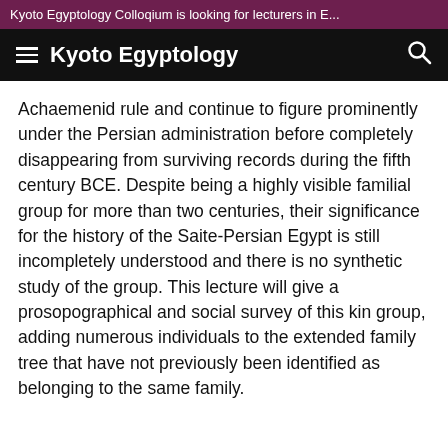Kyoto Egyptology Colloqium is looking for lecturers in E...
Kyoto Egyptology
Achaemenid rule and continue to figure prominently under the Persian administration before completely disappearing from surviving records during the fifth century BCE. Despite being a highly visible familial group for more than two centuries, their significance for the history of the Saite-Persian Egypt is still incompletely understood and there is no synthetic study of the group. This lecture will give a prosopographical and social survey of this kin group, adding numerous individuals to the extended family tree that have not previously been identified as belonging to the same family.